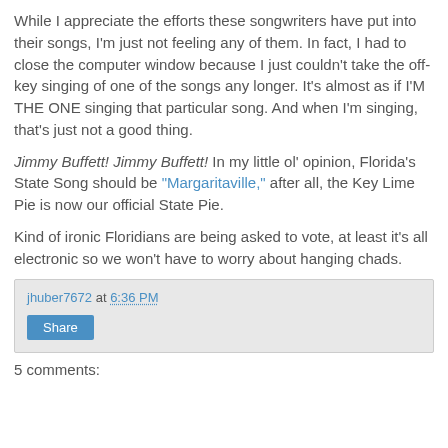While I appreciate the efforts these songwriters have put into their songs, I'm just not feeling any of them. In fact, I had to close the computer window because I just couldn't take the off-key singing of one of the songs any longer. It's almost as if I'M THE ONE singing that particular song. And when I'm singing, that's just not a good thing.
Jimmy Buffett! Jimmy Buffett! In my little ol' opinion, Florida's State Song should be "Margaritaville," after all, the Key Lime Pie is now our official State Pie.
Kind of ironic Floridians are being asked to vote, at least it's all electronic so we won't have to worry about hanging chads.
jhuber7672 at 6:36 PM — Share
5 comments: